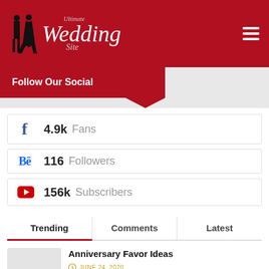Ultimate Wedding Site
Follow Our Social
4.9k Fans
116 Followers
156k Subscribers
Trending | Comments | Latest
Anniversary Favor Ideas
JUNE 24, 2020
Locating A Good Wedding Coordinator